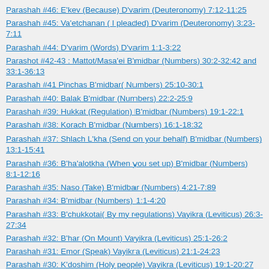Parashah #46: E'kev (Because) D'varim (Deuteronomy) 7:12-11:25
Parashah #45: Va'etchanan ( I pleaded) D'varim (Deuteronomy) 3:23-7:11
Parashah #44: D'varim (Words) D'varim 1:1-3:22
Parashot #42-43 : Mattot/Masa'ei B'midbar (Numbers) 30:2-32:42 and 33:1-36:13
Parashah #41 Pinchas B'midbar( Numbers) 25:10-30:1
Parashah #40: Balak B'midbar (Numbers) 22:2-25:9
Parashah #39: Hukkat (Regulation) B'midbar (Numbers) 19:1-22:1
Parashah #38: Korach B'midbar (Numbers) 16:1-18:32
Parashah #37: Shlach L'kha (Send on your behalf) B'midbar (Numbers) 13:1-15:41
Parashah #36: B'ha'alotkha (When you set up) B'midbar (Numbers) 8:1-12:16
Parashah #35: Naso (Take) B'midbar (Numbers) 4:21-7:89
Parashah #34: B'midbar (Numbers) 1:1-4:20
Parashah #33: B'chukkotai( By my regulations) Vayikra (Leviticus) 26:3-27:34
Parashah #32: B'har (On Mount) Vayikra (Leviticus) 25:1-26:2
Parashah #31: Emor (Speak) Vayikra (Leviticus) 21:1-24:23
Parashah #30: K'doshim (Holy people) Vayikra (Leviticus) 19:1-20:27
Parashah #29: Acharei Mot (After the death) Vayikra (Leviticus) 16:1-